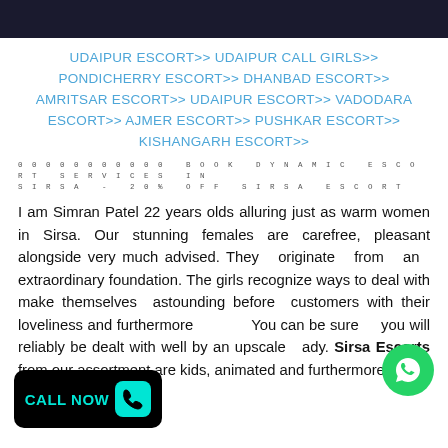UDAIPUR ESCORT>> UDAIPUR CALL GIRLS>> PONDICHERRY ESCORT>> DHANBAD ESCORT>> AMRITSAR ESCORT>> UDAIPUR ESCORT>> VADODARA ESCORT>> AJMER ESCORT>> PUSHKAR ESCORT>> KISHANGARH ESCORT>>
0000000000 BOOK DYNAMIC ESCORT SERVICES IN SIRSA - 20% OFF SIRSA ESCORT
I am Simran Patel 22 years olds alluring just as warm women in Sirsa. Our stunning females are carefree, pleasant alongside very much advised. They originate from an extraordinary foundation. The girls recognize ways to deal with make themselves astounding before customers with their loveliness and furthermore. You can be sure you will reliably be dealt with well by an upscale lady. Sirsa Escorts from our assortment are kids, animated and furthermore